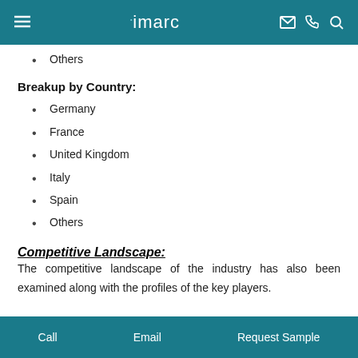imarc
Others
Breakup by Country:
Germany
France
United Kingdom
Italy
Spain
Others
Competitive Landscape:
The competitive landscape of the industry has also been examined along with the profiles of the key players.
Call   Email   Request Sample